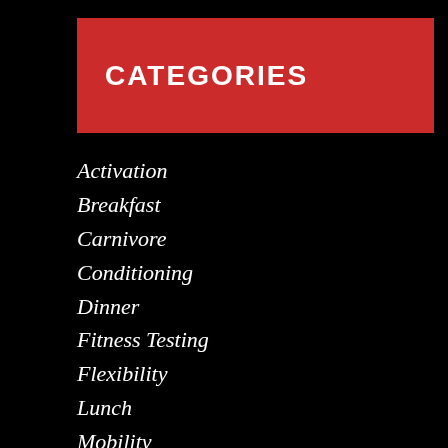CATEGORIES
Activation
Breakfast
Carnivore
Conditioning
Dinner
Fitness Testing
Flexibility
Lunch
Mobility
Movement Screening
Pescatarian
Potentiation